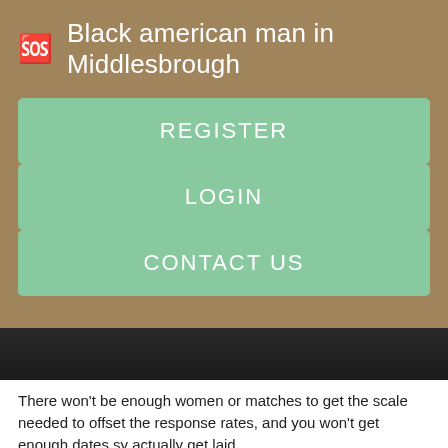Black american man in Middlesbrough
REGISTER
LOGIN
CONTACT US
[Figure (photo): Dark photo strip, partial view of an image]
There won't be enough women or matches to get the scale needed to offset the response rates, and you won't get enough dates sy actually get laid.
I am fetish friendly. Just visit our website bedpage. There are numerous alternatives of Backpage Wyoming, Wyoming available but none can beat the services of bedpage which endorse dazzling Female Escorts in Wyoming, Wyoming. I'm